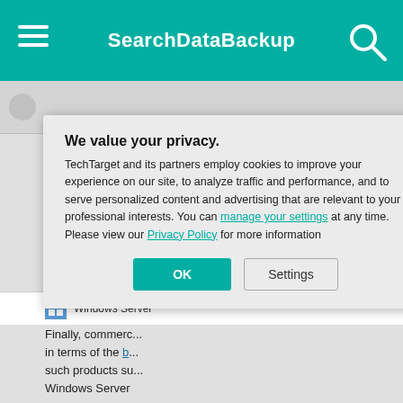SearchDataBackup
[Figure (screenshot): Windows Server Backup wizard screenshot showing 'Specify Backup Time' step selected in sidebar, with options for backup frequency including 'Once a day' and 'More than once a day' with available time 12:00 AM, 12:30 AM and scheduled time 9:00 PM]
Windows Server
Finally, commerc... in terms of the b... such products su... Windows Server
[Figure (screenshot): Privacy consent modal dialog with title 'We value your privacy.' and text about TechTarget and partners using cookies. Contains links to 'manage your settings' and 'Privacy Policy', with OK and Settings buttons.]
We value your privacy. TechTarget and its partners employ cookies to improve your experience on our site, to analyze traffic and performance, and to serve personalized content and advertising that are relevant to your professional interests. You can manage your settings at any time. Please view our Privacy Policy for more information